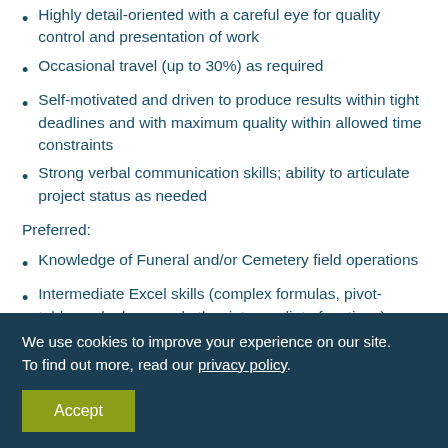Highly detail-oriented with a careful eye for quality control and presentation of work
Occasional travel (up to 30%) as required
Self-motivated and driven to produce results within tight deadlines and with maximum quality within allowed time constraints
Strong verbal communication skills; ability to articulate project status as needed
Preferred:
Knowledge of Funeral and/or Cemetery field operations
Intermediate Excel skills (complex formulas, pivot-tables, v-lookups and other intermediate functions)
We use cookies to improve your experience on our site. To find out more, read our privacy policy.